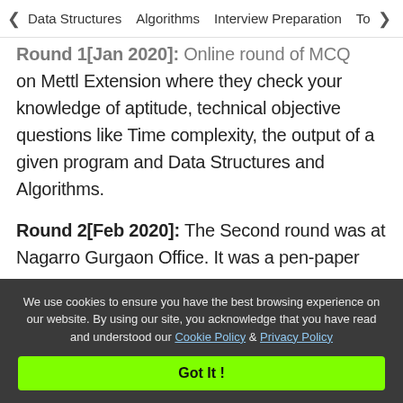< Data Structures   Algorithms   Interview Preparation   To>
Round 1[Jan 2020]: Online round of MCQ on Mettl Extension where they check your knowledge of aptitude, technical objective questions like Time complexity, the output of a given program and Data Structures and Algorithms.
Round 2[Feb 2020]: The Second round was at Nagarro Gurgaon Office. It was a pen-paper coding round. There were three questions to be completed in approx 70-80 minutes. They just need the logic/pseudo code. You can code in any
We use cookies to ensure you have the best browsing experience on our website. By using our site, you acknowledge that you have read and understood our Cookie Policy & Privacy Policy
Got It !